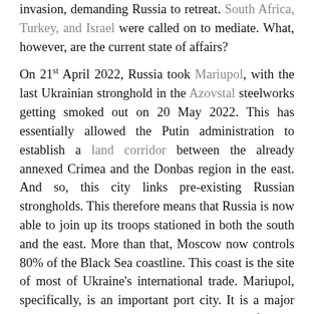invasion, demanding Russia to retreat. South Africa, Turkey, and Israel were called on to mediate. What, however, are the current state of affairs?
On 21st April 2022, Russia took Mariupol, with the last Ukrainian stronghold in the Azovstal steelworks getting smoked out on 20 May 2022. This has essentially allowed the Putin administration to establish a land corridor between the already annexed Crimea and the Donbas region in the east. And so, this city links pre-existing Russian strongholds. This therefore means that Russia is now able to join up its troops stationed in both the south and the east. More than that, Moscow now controls 80% of the Black Sea coastline. This coast is the site of most of Ukraine's international trade. Mariupol, specifically, is an important port city. It is a major grain and steel exporter. Mariupol is therefore an economically strategic point, control of which allows the Ukrainian off the Ukrainian economy and